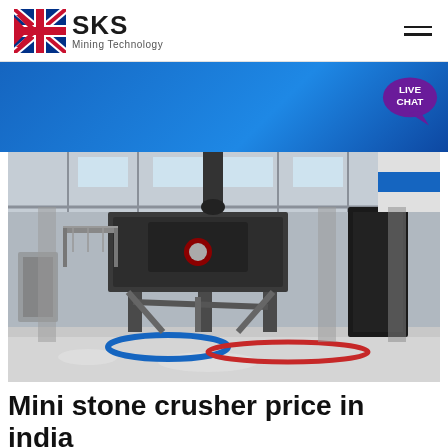[Figure (logo): SKS Mining Technology logo with UK flag chevron icon, company name SKS in bold and Mining Technology subtitle]
[Figure (photo): Industrial mining facility interior showing heavy stone crushing equipment on a large steel frame structure, with gravel on the floor, inside a large warehouse building]
Mini stone crusher price in india